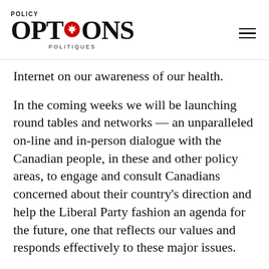POLICY OPTIONS POLITIQUES
Internet on our awareness of our health.
In the coming weeks we will be launching round tables and networks — an unparalleled on-line and in-person dialogue with the Canadian people, in these and other policy areas, to engage and consult Canadians concerned about their country's direction and help the Liberal Party fashion an agenda for the future, one that reflects our values and responds effectively to these major issues.
In each generation, the Liberal Party has